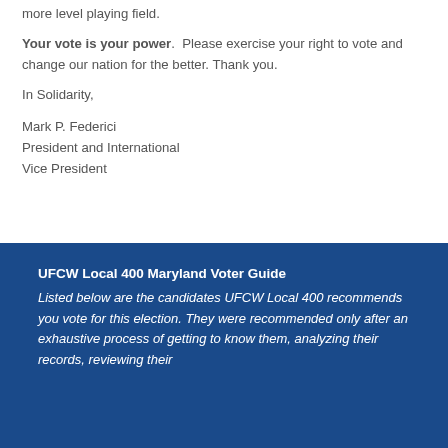more level playing field.
Your vote is your power.  Please exercise your right to vote and change our nation for the better. Thank you.
In Solidarity,
Mark P. Federici
President and International
Vice President
UFCW Local 400 Maryland Voter Guide
Listed below are the candidates UFCW Local 400 recommends you vote for this election. They were recommended only after an exhaustive process of getting to know them, analyzing their records, reviewing their